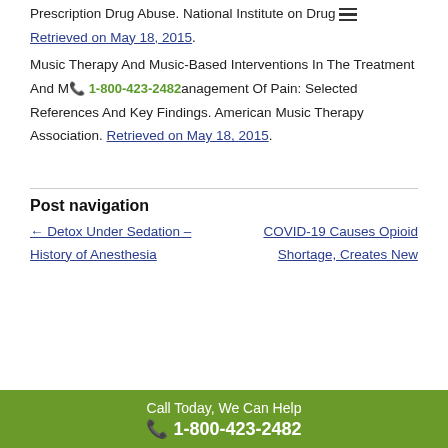America's Addiction to Opioids: Heroin and Prescription Drug Abuse. National Institute on Drug Abuse. Retrieved on May 18, 2015.
Music Therapy And Music-Based Interventions In The Treatment And Management Of Pain: Selected References And Key Findings. American Music Therapy Association. Retrieved on May 18, 2015.
Post navigation
← Detox Under Sedation – History of Anesthesia
COVID-19 Causes Opioid Shortage, Creates New
Call Today, We Can Help 1-800-423-2482